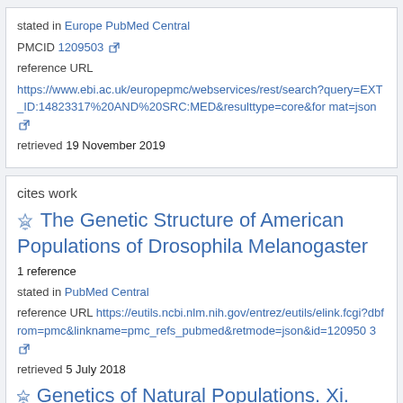stated in Europe PubMed Central
PMCID 1209503 [external link]
reference URL
https://www.ebi.ac.uk/europepmc/webservices/rest/search?query=EXT_ID:14823317%20AND%20SRC:MED&resulttype=core&format=json [external link]
retrieved 19 November 2019
cites work
The Genetic Structure of American Populations of Drosophila Melanogaster
1 reference
stated in PubMed Central
reference URL https://eutils.ncbi.nlm.nih.gov/entrez/eutils/elink.fcgi?dbfrom=pmc&linkname=pmc_refs_pubmed&retmode=json&id=1209503 [external link]
retrieved 5 July 2018
Genetics of Natural Populations. Xi.